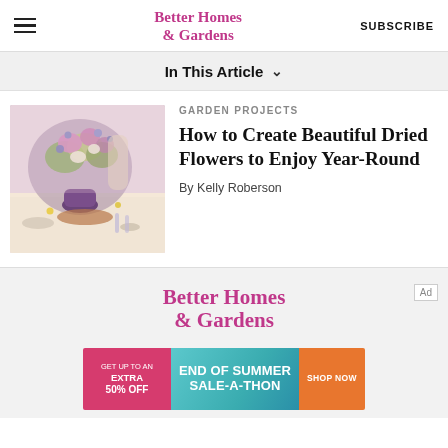Better Homes & Gardens | SUBSCRIBE
In This Article ∨
[Figure (photo): Floral arrangement with dried flowers in a purple vase on a table setting]
GARDEN PROJECTS
How to Create Beautiful Dried Flowers to Enjoy Year-Round
By Kelly Roberson
[Figure (logo): Better Homes & Gardens logo in pink script]
Ad
[Figure (infographic): End of Summer Sale-A-Thon banner ad: GET UP TO AN EXTRA 50% OFF | END OF SUMMER SALE-A-THON | SHOP NOW]